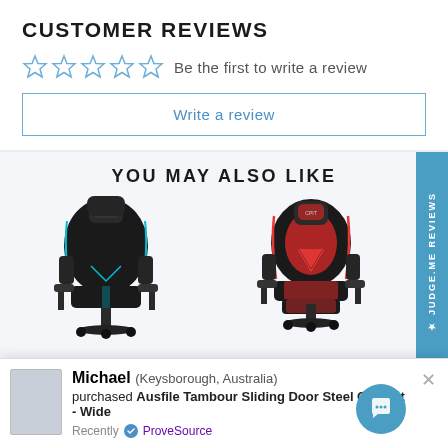CUSTOMER REVIEWS
Be the first to write a review
Write a review
YOU MAY ALSO LIKE
[Figure (photo): Black gaming chair with blue accent trim and neck pillow]
[Figure (photo): Black gaming chair with red accent trim and footrest]
Michael (Keysborough, Australia) purchased Ausfile Tambour Sliding Door Steel Cabinet - Wide Recently ProveSource